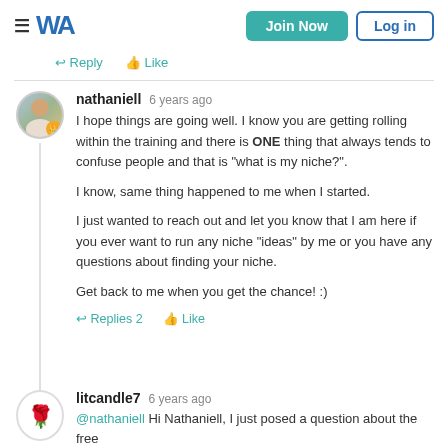WA | Join Now | Log in
Reply  Like
nathaniell  6 years ago
I hope things are going well. I know you are getting rolling within the training and there is ONE thing that always tends to confuse people and that is "what is my niche?".

I know, same thing happened to me when I started.

I just wanted to reach out and let you know that I am here if you ever want to run any niche "ideas" by me or you have any questions about finding your niche.

Get back to me when you get the chance! :)

Replies 2  Like
litcandle7  6 years ago
@nathaniell Hi Nathaniell, I just posed a question about the free